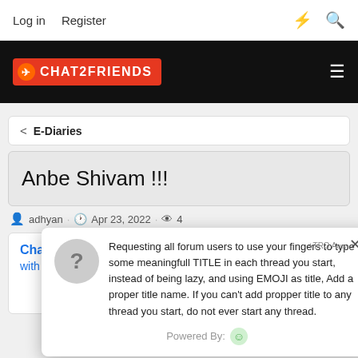Log in  Register
[Figure (logo): CHAT2FRIENDS logo on black bar with hamburger menu]
< E-Diaries
Anbe Shivam !!!
adhyan · Apr 23, 2022 · 4
[Figure (screenshot): Advertisement banner: Change plans with Flexifly starting from...]
Requesting all forum users to use your fingers to type some meaningfull TITLE in each thread you start, instead of being lazy, and using EMOJI as title, Add a proper title name. If you can't add propper title to any thread you start, do not ever start any thread.
Powered By: